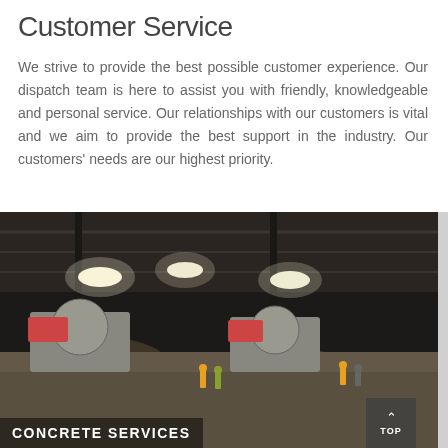Customer Service
We strive to provide the best possible customer experience. Our dispatch team is here to assist you with friendly, knowledgeable and personal service. Our relationships with our customers is vital and we aim to provide the best support in the industry. Our customers' needs are our highest priority.
[Figure (photo): Industrial warehouse interior at night with concrete mixer trucks and workers on a concrete floor under bright overhead lights]
CONCRETE SERVICES